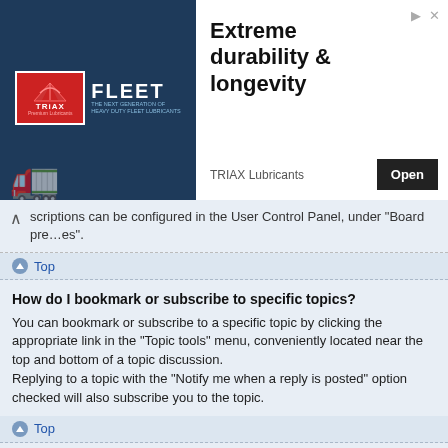[Figure (screenshot): TRIAX Fleet lubricants advertisement banner with logo, product image, and 'Extreme durability & longevity' headline with Open button]
scriptions can be configured in the User Control Panel, under "Board preferences".
Top
How do I bookmark or subscribe to specific topics?
You can bookmark or subscribe to a specific topic by clicking the appropriate link in the "Topic tools" menu, conveniently located near the top and bottom of a topic discussion.
Replying to a topic with the "Notify me when a reply is posted" option checked will also subscribe you to the topic.
Top
How do I subscribe to specific forums?
To subscribe to a specific forum, click the "Subscribe forum" link, at the bottom of page, upon entering the forum.
Top